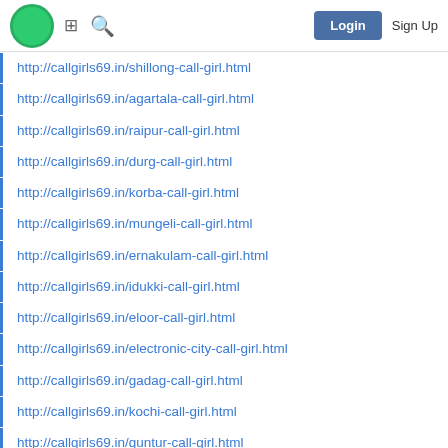Login  Sign Up
http://callgirls69.in/shillong-call-girl.html
http://callgirls69.in/agartala-call-girl.html
http://callgirls69.in/raipur-call-girl.html
http://callgirls69.in/durg-call-girl.html
http://callgirls69.in/korba-call-girl.html
http://callgirls69.in/mungeli-call-girl.html
http://callgirls69.in/ernakulam-call-girl.html
http://callgirls69.in/idukki-call-girl.html
http://callgirls69.in/eloor-call-girl.html
http://callgirls69.in/electronic-city-call-girl.html
http://callgirls69.in/gadag-call-girl.html
http://callgirls69.in/kochi-call-girl.html
http://callgirls69.in/guntur-call-girl.html
http://callgirls69.in/mangalore-call-girl.html
http://callgirls69.in/bangalore-call-girl.html